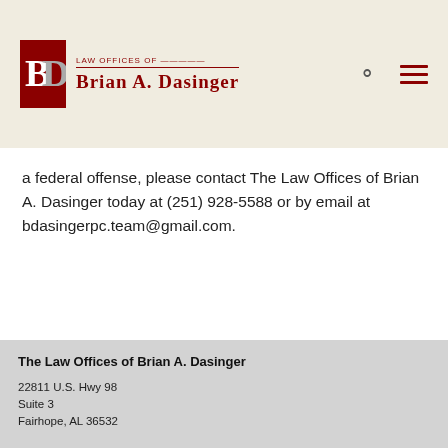[Figure (logo): Law Offices of Brian A. Dasinger logo with BD monogram in red/dark box and firm name text]
a federal offense, please contact The Law Offices of Brian A. Dasinger today at (251) 928-5588 or by email at bdasingerpc.team@gmail.com.
The Law Offices of Brian A. Dasinger
22811 U.S. Hwy 98
Suite 3
Fairhope, AL 36532

632 Gulf Shores Pkwy, Suite 207,
Gulf Shores Al 36542